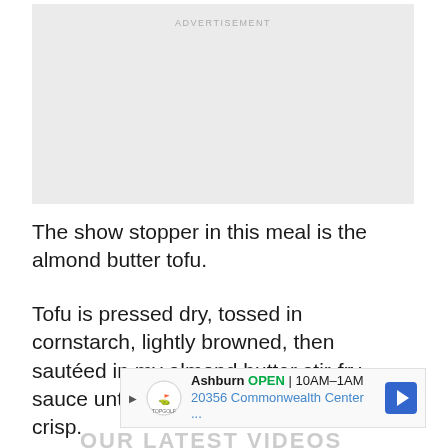[Figure (other): Advertisement placeholder box with light gray background and 'ADVERTISEMENT' label at top center]
The show stopper in this meal is the almond butter tofu.
Tofu is pressed dry, tossed in cornstarch, lightly browned, then sautéed in my almond butter stir-fry sauce until savory, sweet, and perfectly crisp.
[Figure (other): Advertisement banner for Topgolf Ashburn showing OPEN 10AM-1AM, 20356 Commonwealth Center...]
OUR LATEST VIDEOS